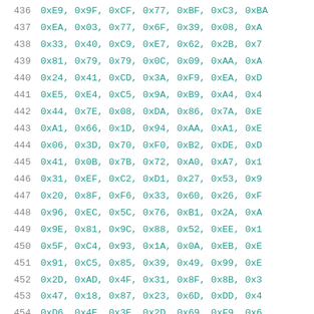| line | hex values |
| --- | --- |
| 436 | 0xE9, 0x9F, 0xCF, 0x77, 0xBF, 0xC3, 0xBA... |
| 437 | 0xEA, 0x03, 0x77, 0x6F, 0x39, 0x08, 0xA... |
| 438 | 0x33, 0x40, 0xC9, 0xE7, 0x62, 0x2B, 0x7... |
| 439 | 0x81, 0x79, 0x79, 0x0C, 0x09, 0xAA, 0xA... |
| 440 | 0x24, 0x41, 0xCD, 0x3A, 0xF9, 0xEA, 0xD... |
| 441 | 0xE5, 0xE4, 0xC5, 0x9A, 0xB9, 0xA4, 0x4... |
| 442 | 0x44, 0x7E, 0x08, 0xDA, 0x86, 0x7A, 0xE... |
| 443 | 0xA1, 0x66, 0x1D, 0x94, 0xAA, 0xA1, 0xE... |
| 444 | 0x06, 0x3D, 0x70, 0xF0, 0xB2, 0xDE, 0xD... |
| 445 | 0x41, 0x0B, 0x7B, 0x72, 0xA0, 0xA7, 0x1... |
| 446 | 0x31, 0xEF, 0xC2, 0xD1, 0x27, 0x53, 0x9... |
| 447 | 0x20, 0x8F, 0xF6, 0x33, 0x60, 0x26, 0xF... |
| 448 | 0x96, 0xEC, 0x5C, 0x76, 0xB1, 0x2A, 0xA... |
| 449 | 0x9E, 0x81, 0x9C, 0x88, 0x52, 0xEE, 0x1... |
| 450 | 0x5F, 0xC4, 0x93, 0x1A, 0x0A, 0xEB, 0xE... |
| 451 | 0x91, 0xC5, 0x85, 0x39, 0x49, 0x99, 0xE... |
| 452 | 0x2D, 0xAD, 0x4F, 0x31, 0x8F, 0x8B, 0x3... |
| 453 | 0x47, 0x18, 0x87, 0x23, 0x6D, 0xDD, 0x4... |
| 454 | 0xD6, 0x4E, 0x3E, 0x2D, 0x69, 0xF9, 0x6... |
| 455 | 0x2A, 0x4F, 0xCE, 0xF2, 0xCB, 0x65, 0x2... |
| 456 | 0xFC, 0x78, 0x97, 0x5C, 0x05, 0x58, 0x7... |